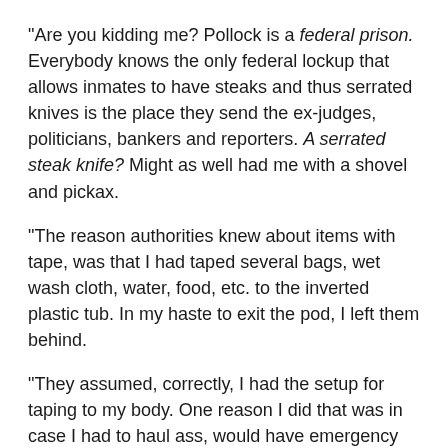“Are you kidding me? Pollock is a federal prison. Everybody knows the only federal lockup that allows inmates to have steaks and thus serrated knives is the place they send the ex-judges, politicians, bankers and reporters. A serrated steak knife? Might as well had me with a shovel and pickax.
“The reason authorities knew about items with tape, was that I had taped several bags, wet wash cloth, water, food, etc. to the inverted plastic tub. In my haste to exit the pod, I left them behind.
“They assumed, correctly, I had the setup for taping to my body. One reason I did that was in case I had to haul ass, would have emergency and essential items; water (in plastic bags), dry socks, first aid, map.